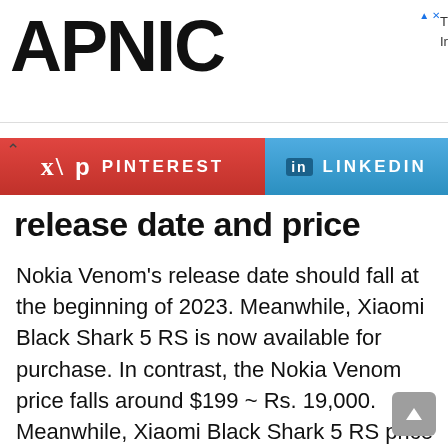APNIC — Thank you for helping us measure the Internet.
[Figure (other): Social share buttons: Pinterest (red) and LinkedIn (blue)]
release date and price
Nokia Venom's release date should fall at the beginning of 2023. Meanwhile, Xiaomi Black Shark 5 RS is now available for purchase. In contrast, the Nokia Venom price falls around $199 ~ Rs. 19,000. Meanwhile, Xiaomi Black Shark 5 RS price begins from Rs. 38,744 ~ $510. Do you love this race? Let us know your opinion in the comment section!